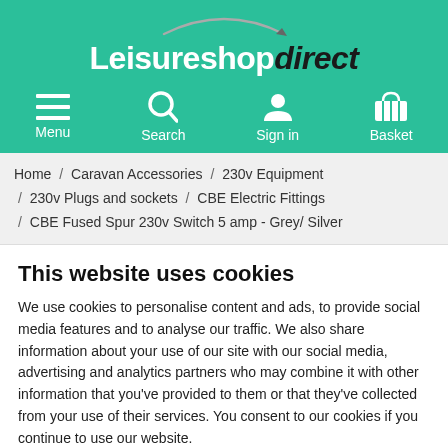[Figure (logo): Leisureshop direct logo with arc above text on green background]
[Figure (screenshot): Navigation bar with Menu, Search, Sign in, Basket icons on green background]
Home / Caravan Accessories / 230v Equipment / 230v Plugs and sockets / CBE Electric Fittings / CBE Fused Spur 230v Switch 5 amp - Grey/ Silver
This website uses cookies
We use cookies to personalise content and ads, to provide social media features and to analyse our traffic. We also share information about your use of our site with our social media, advertising and analytics partners who may combine it with other information that you've provided to them or that they've collected from your use of their services. You consent to our cookies if you continue to use our website.
OK
Necessary | Preferences | Statistics | Marketing | Show details